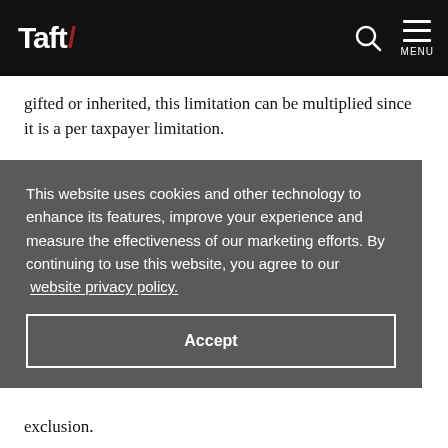Taft/
gifted or inherited, this limitation can be multiplied since it is a per taxpayer limitation.
The percentage of gain that a taxpayer can exclude is determined by when the pass-through
This website uses cookies and other technology to enhance its features, improve your experience and measure the effectiveness of our marketing efforts. By continuing to use this website, you agree to our website privacy policy.
Accept
exclusion.